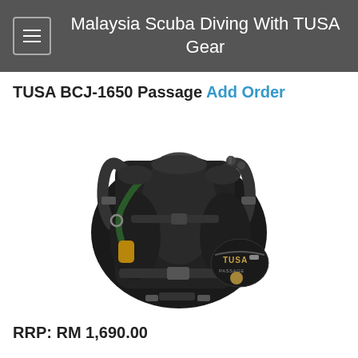Malaysia Scuba Diving With TUSA Gear
TUSA BCJ-1650 Passage Add Order
[Figure (photo): Black TUSA BCJ-1650 Passage BCD (buoyancy control device) scuba diving jacket with harness, inflator hose, and TUSA logo on side pocket]
RRP: RM 1,690.00